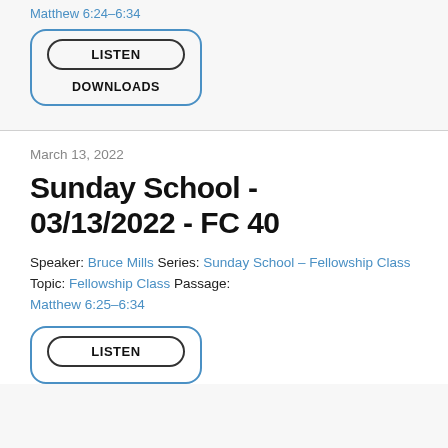Matthew 6:24–6:34
[Figure (other): UI button box with LISTEN and DOWNLOADS buttons, outlined in blue]
March 13, 2022
Sunday School - 03/13/2022 - FC 40
Speaker: Bruce Mills Series: Sunday School - Fellowship Class Topic: Fellowship Class Passage: Matthew 6:25–6:34
[Figure (other): UI button box with LISTEN button, outlined in blue, partially visible at bottom]